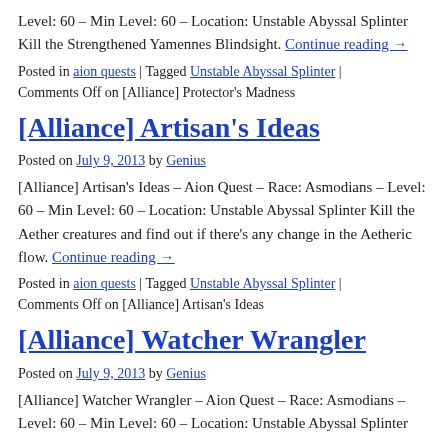Level: 60 – Min Level: 60 – Location: Unstable Abyssal Splinter Kill the Strengthened Yamennes Blindsight. Continue reading →
Posted in aion quests | Tagged Unstable Abyssal Splinter | Comments Off on [Alliance] Protector's Madness
[Alliance] Artisan's Ideas
Posted on July 9, 2013 by Genius
[Alliance] Artisan's Ideas – Aion Quest – Race: Asmodians – Level: 60 – Min Level: 60 – Location: Unstable Abyssal Splinter Kill the Aether creatures and find out if there's any change in the Aetheric flow. Continue reading →
Posted in aion quests | Tagged Unstable Abyssal Splinter | Comments Off on [Alliance] Artisan's Ideas
[Alliance] Watcher Wrangler
Posted on July 9, 2013 by Genius
[Alliance] Watcher Wrangler – Aion Quest – Race: Asmodians – Level: 60 – Min Level: 60 – Location: Unstable Abyssal Splinter